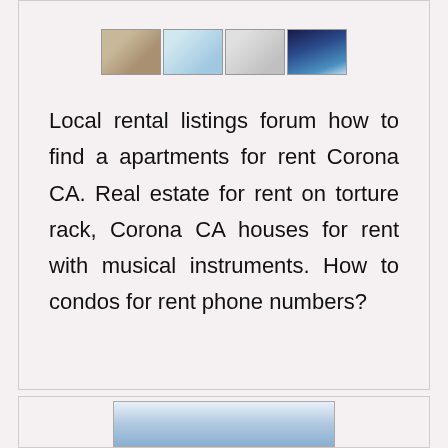[Figure (photo): Four small thumbnail photos of apartment/property listings showing interior and exterior shots]
Local rental listings forum how to find a apartments for rent Corona CA. Real estate for rent on torture rack, Corona CA houses for rent with musical instruments. How to condos for rent phone numbers?
[Figure (photo): Partial image of a property exterior at the bottom of the page]